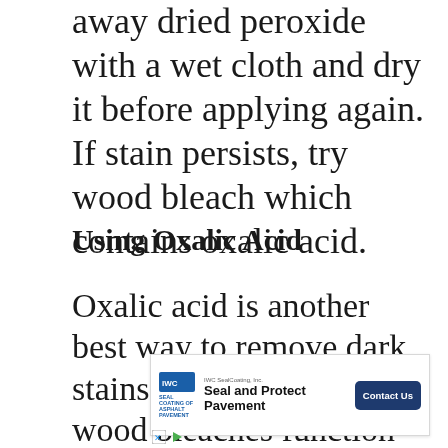away dried peroxide with a wet cloth and dry it before applying again. If stain persists, try wood bleach which contains oxalic acid.
Using Oxalic Acid
Oxalic acid is another best way to remove dark stains on wood. Many wood bleaches function differently. However, oxalic acid is best in
[Figure (other): Advertisement for IWC SealCoating, Inc. - Seal and Protect Pavement with Contact Us button]